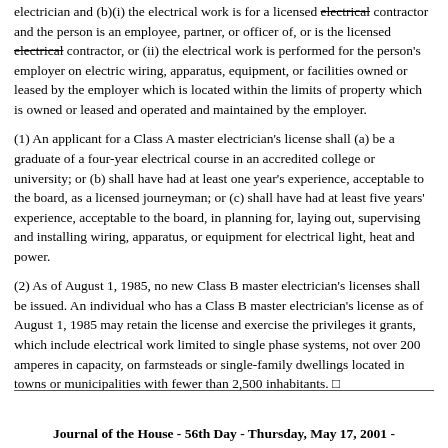electrician and (b)(i) the electrical work is for a licensed electrical contractor and the person is an employee, partner, or officer of, or is the licensed electrical contractor, or (ii) the electrical work is performed for the person's employer on electric wiring, apparatus, equipment, or facilities owned or leased by the employer which is located within the limits of property which is owned or leased and operated and maintained by the employer.
(1) An applicant for a Class A master electrician's license shall (a) be a graduate of a four-year electrical course in an accredited college or university; or (b) shall have had at least one year's experience, acceptable to the board, as a licensed journeyman; or (c) shall have had at least five years' experience, acceptable to the board, in planning for, laying out, supervising and installing wiring, apparatus, or equipment for electrical light, heat and power.
(2) As of August 1, 1985, no new Class B master electrician's licenses shall be issued. An individual who has a Class B master electrician's license as of August 1, 1985 may retain the license and exercise the privileges it grants, which include electrical work limited to single phase systems, not over 200 amperes in capacity, on farmsteads or single-family dwellings located in towns or municipalities with fewer than 2,500 inhabitants.
Journal of the House - 56th Day - Thursday, May 17, 2001 -